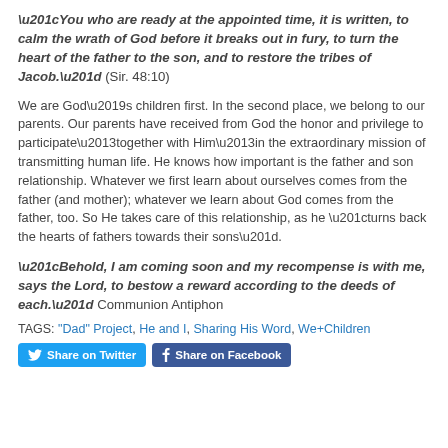“You who are ready at the appointed time, it is written, to calm the wrath of God before it breaks out in fury, to turn the heart of the father to the son, and to restore the tribes of Jacob.” (Sir. 48:10)
We are God’s children first. In the second place, we belong to our parents. Our parents have received from God the honor and privilege to participate–together with Him–in the extraordinary mission of transmitting human life. He knows how important is the father and son relationship. Whatever we first learn about ourselves comes from the father (and mother); whatever we learn about God comes from the father, too. So He takes care of this relationship, as he “turns back the hearts of fathers towards their sons”.
“Behold, I am coming soon and my recompense is with me, says the Lord, to bestow a reward according to the deeds of each.” Communion Antiphon
TAGS: "Dad" Project, He and I, Sharing His Word, We+Children
[Figure (other): Share on Twitter and Share on Facebook buttons]